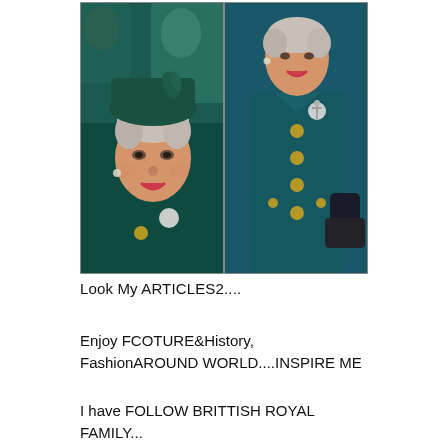[Figure (photo): Two side-by-side photos of Queen Elizabeth II wearing a dark teal/green coat with gold buttons and a decorative brooch. Left photo is a close-up of her face smiling, wearing a matching dark hat. Right photo shows her from the torso up, smiling.]
Look My ARTICLES2....
Enjoy FCOTURE&History, FashionAROUND WORLD....INSPIRE ME
I have FOLLOW BRITTISH ROYAL FAMILY...